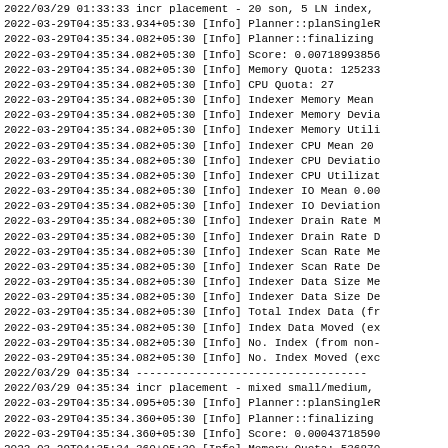2022/03/29 01:33:33 incr placement - 20 son, 5 LN index,
2022-03-29T04:35:33.934+05:30 [Info] Planner::planSingleR
2022-03-29T04:35:34.082+05:30 [Info] Planner::finalizing
2022-03-29T04:35:34.082+05:30 [Info] Score: 0.00718993856
2022-03-29T04:35:34.082+05:30 [Info] Memory Quota: 125233
2022-03-29T04:35:34.082+05:30 [Info] CPU Quota: 27
2022-03-29T04:35:34.082+05:30 [Info] Indexer Memory Mean
2022-03-29T04:35:34.082+05:30 [Info] Indexer Memory Devia
2022-03-29T04:35:34.082+05:30 [Info] Indexer Memory Utili
2022-03-29T04:35:34.082+05:30 [Info] Indexer CPU Mean 20
2022-03-29T04:35:34.082+05:30 [Info] Indexer CPU Deviatio
2022-03-29T04:35:34.082+05:30 [Info] Indexer CPU Utilizat
2022-03-29T04:35:34.082+05:30 [Info] Indexer IO Mean 0.00
2022-03-29T04:35:34.082+05:30 [Info] Indexer IO Deviation
2022-03-29T04:35:34.082+05:30 [Info] Indexer Drain Rate M
2022-03-29T04:35:34.082+05:30 [Info] Indexer Drain Rate D
2022-03-29T04:35:34.082+05:30 [Info] Indexer Scan Rate Me
2022-03-29T04:35:34.082+05:30 [Info] Indexer Scan Rate De
2022-03-29T04:35:34.082+05:30 [Info] Indexer Data Size Me
2022-03-29T04:35:34.082+05:30 [Info] Indexer Data Size De
2022-03-29T04:35:34.082+05:30 [Info] Total Index Data (fr
2022-03-29T04:35:34.082+05:30 [Info] Index Data Moved (ex
2022-03-29T04:35:34.082+05:30 [Info] No. Index (from non-
2022-03-29T04:35:34.082+05:30 [Info] No. Index Moved (exc
2022/03/29 04:35:34 -----------------------------------
2022/03/29 04:35:34 incr placement - mixed small/medium,
2022-03-29T04:35:34.095+05:30 [Info] Planner::planSingleR
2022-03-29T04:35:34.360+05:30 [Info] Planner::finalizing
2022-03-29T04:35:34.360+05:30 [Info] Score: 0.00043718590
2022-03-29T04:35:34.360+05:30 [Info] Memory Quota: 536870
2022-03-29T04:35:34.360+05:30 [Info] CPU Quota: 20